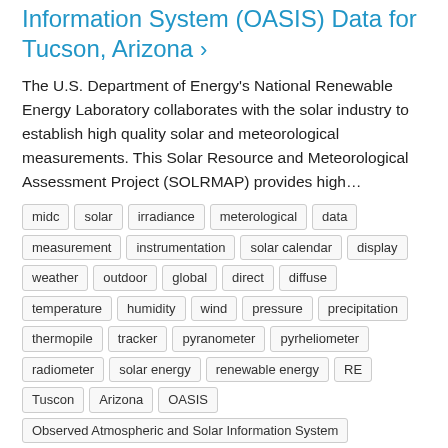Information System (OASIS) Data for Tucson, Arizona ›
The U.S. Department of Energy's National Renewable Energy Laboratory collaborates with the solar industry to establish high quality solar and meteorological measurements. This Solar Resource and Meteorological Assessment Project (SOLRMAP) provides high…
midc
solar
irradiance
meterological
data
measurement
instrumentation
solar calendar
display
weather
outdoor
global
direct
diffuse
temperature
humidity
wind
pressure
precipitation
thermopile
tracker
pyranometer
pyrheliometer
radiometer
solar energy
renewable energy
RE
Tuscon
Arizona
OASIS
Observed Atmospheric and Solar Information System
Submitted 12/17/2014 - 22:00 by Afshin Andreas
Solar Resource and Meteorological Assessment Project (SOLRMAP):